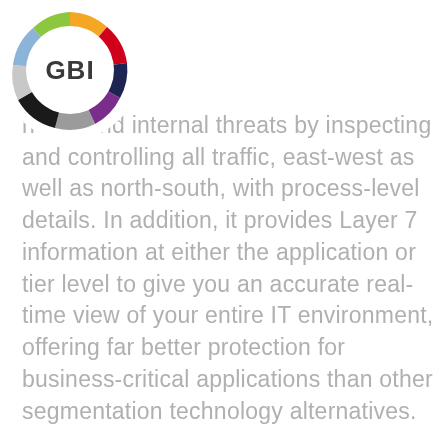[Figure (logo): GBI logo: circular multicolor ring (orange, red, dark blue, purple, gray, black, light green segments) with bold 'GBI' text in center on white background]
no...nal and internal threats by inspecting and controlling all traffic, east-west as well as north-south, with process-level details. In addition, it provides Layer 7 information at either the application or tier level to give you an accurate real-time view of your entire IT environment, offering far better protection for business-critical applications than other segmentation technology alternatives.

If you want a solution for network segmentation that doesn't ask you to ...